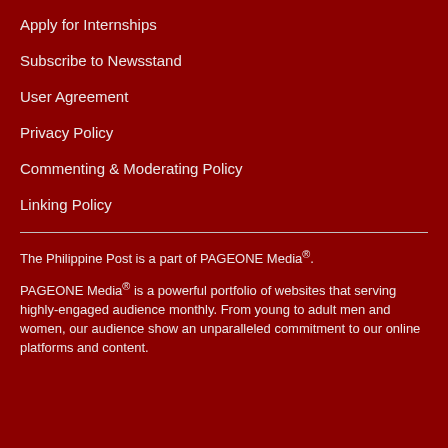Apply for Internships
Subscribe to Newsstand
User Agreement
Privacy Policy
Commenting & Moderating Policy
Linking Policy
The Philippine Post is a part of PAGEONE Media®.
PAGEONE Media® is a powerful portfolio of websites that serving highly-engaged audience monthly. From young to adult men and women, our audience show an unparalleled commitment to our online platforms and content.